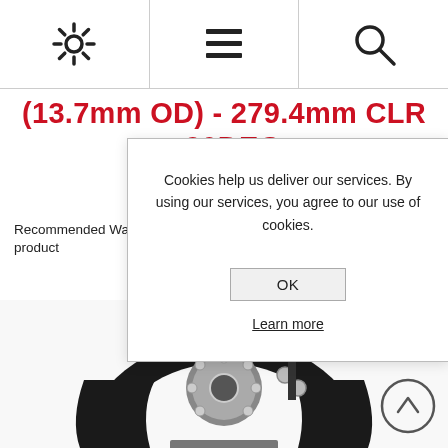Navigation bar with settings, menu, and search icons
(13.7mm OD) - 279.4mm CLR - 90DEG
Recommended Wall Thickness Range: Schedule 40 Pipe Only This product
Cookies help us deliver our services. By using our services, you agree to our use of cookies.
OK
Learn more
[Figure (photo): Black pipe bending die/tool with metallic roller components, shown close-up on a white background.]